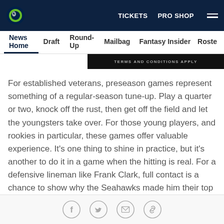TICKETS  PRO SHOP
News Home  Draft  Round-Up  Mailbag  Fantasy Insider  Roster
[Figure (screenshot): Dark banner with text TERMS AND CONDITIONS APPLY]
For established veterans, preseason games represent something of a regular-season tune-up. Play a quarter or two, knock off the rust, then get off the field and let the youngsters take over. For those young players, and rookies in particular, these games offer valuable experience. It's one thing to shine in practice, but it's another to do it in a game when the hitting is real. For a defensive lineman like Frank Clark, full contact is a chance to show why the Seahawks made him their top pick in the 2015 draft. For Tyler Lockett, now is the time to show what he can do in the return game. And for all
[Figure (infographic): Social sharing icons: Facebook, Twitter, Email, Link]